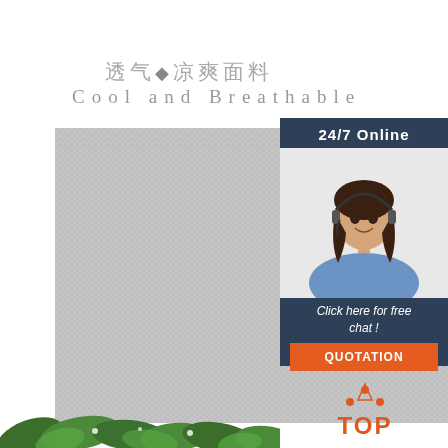透气♦凉爽面料
Cool and Breathable
[Figure (photo): Close-up texture of a cool and breathable gray woven fabric]
[Figure (photo): 24/7 online chat agent - woman with headset smiling, dark panel with '24/7 Online' header, 'Click here for free chat!' text, and orange QUOTATION button]
[Figure (logo): TOP logo with orange dots/triangles above the word TOP in orange letters]
[Figure (photo): Green plant leaves at bottom of page]